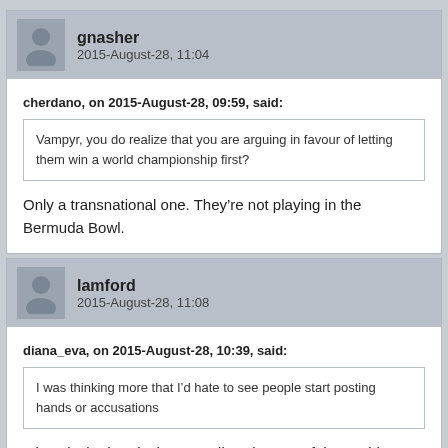gnasher
2015-August-28, 11:04
cherdano, on 2015-August-28, 09:59, said:
Vampyr, you do realize that you are arguing in favour of letting them win a world championship first?
Only a transnational one. They’re not playing in the Bermuda Bowl.
lamford
2015-August-28, 11:08
diana_eva, on 2015-August-28, 10:39, said:
I was thinking more that I’d hate to see people start posting hands or accusations
It is only the hands that can allow the rest of the world to decide and I would welcome hands being posted. However, there is a restriction